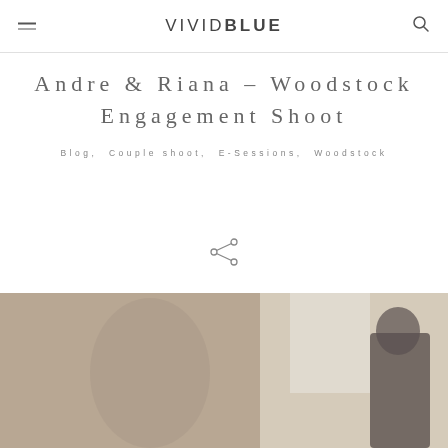VIVIDBLUE
Andre & Riana – Woodstock Engagement Shoot
Blog, Couple shoot, E-Sessions, Woodstock
[Figure (illustration): Share icon (network/share symbol)]
[Figure (photo): Engagement shoot photo, black and white, couple in indoor setting]